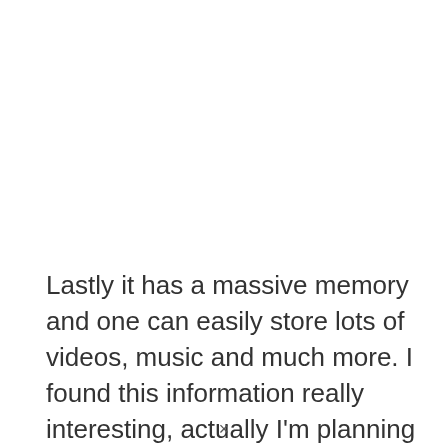Lastly it has a massive memory and one can easily store lots of videos, music and much more. I found this information really interesting, actually I'm planning to buy a new mobile, so just because of the
×